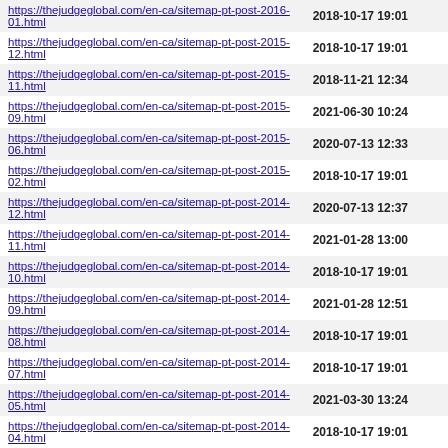| URL | Last Modified |
| --- | --- |
| https://thejudgeglobal.com/en-ca/sitemap-pt-post-2016-01.html | 2018-10-17 19:01 |
| https://thejudgeglobal.com/en-ca/sitemap-pt-post-2015-12.html | 2018-10-17 19:01 |
| https://thejudgeglobal.com/en-ca/sitemap-pt-post-2015-11.html | 2018-11-21 12:34 |
| https://thejudgeglobal.com/en-ca/sitemap-pt-post-2015-09.html | 2021-06-30 10:24 |
| https://thejudgeglobal.com/en-ca/sitemap-pt-post-2015-06.html | 2020-07-13 12:33 |
| https://thejudgeglobal.com/en-ca/sitemap-pt-post-2015-02.html | 2018-10-17 19:01 |
| https://thejudgeglobal.com/en-ca/sitemap-pt-post-2014-12.html | 2020-07-13 12:37 |
| https://thejudgeglobal.com/en-ca/sitemap-pt-post-2014-11.html | 2021-01-28 13:00 |
| https://thejudgeglobal.com/en-ca/sitemap-pt-post-2014-10.html | 2018-10-17 19:01 |
| https://thejudgeglobal.com/en-ca/sitemap-pt-post-2014-09.html | 2021-01-28 12:51 |
| https://thejudgeglobal.com/en-ca/sitemap-pt-post-2014-08.html | 2018-10-17 19:01 |
| https://thejudgeglobal.com/en-ca/sitemap-pt-post-2014-07.html | 2018-10-17 19:01 |
| https://thejudgeglobal.com/en-ca/sitemap-pt-post-2014-05.html | 2021-03-30 13:24 |
| https://thejudgeglobal.com/en-ca/sitemap-pt-post-2014-04.html | 2018-10-17 19:01 |
| https://thejudgeglobal.com/en-ca/sitemap-pt-post-2014-03.html | 2018-10-17 19:01 |
| https://thejudgeglobal.com/en-ca/sitemap-pt-post-2014-01.html | 2018-10-17 19:01 |
| https://thejudgeglobal.com/en-ca/sitemap-pt-post-2013-12.html | 2018-10-17 19:01 |
| https://thejudgeglobal.com/en-ca/sitemap-pt-post-2013-10.html | 2021-06-30 10:20 |
| https://thejudgeglobal.com/en-ca/sitemap-pt-post-2013-09.html | 2018-10-17 19:01 |